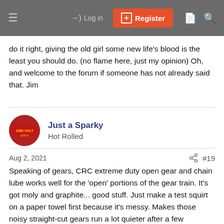Log in | Register
do it right, giving the old girl some new life's blood is the least you should do. (no flame here, just my opinion) Oh, and welcome to the forum if someone has not already said that. Jim
Just a Sparky
Hot Rolled
Aug 2, 2021  #19
Speaking of gears, CRC extreme duty open gear and chain lube works well for the 'open' portions of the gear train. It's got moly and graphite... good stuff. Just make a test squirt on a paper towel first because it's messy. Makes those noisy straight-cut gears run a lot quieter after a few applications too.